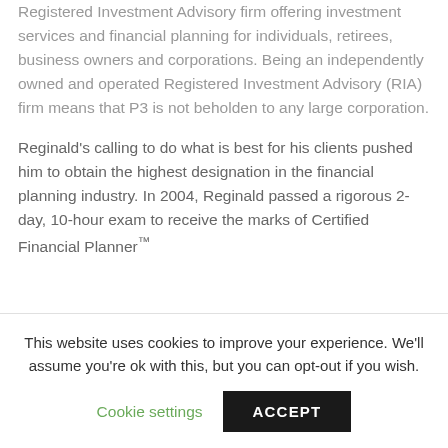Registered Investment Advisory firm offering investment services and financial planning for individuals, retirees, business owners and corporations. Being an independently owned and operated Registered Investment Advisory (RIA) firm means that P3 is not beholden to any large corporation.
Reginald's calling to do what is best for his clients pushed him to obtain the highest designation in the financial planning industry. In 2004, Reginald passed a rigorous 2-day, 10-hour exam to receive the marks of Certified Financial Planner™
This website uses cookies to improve your experience. We'll assume you're ok with this, but you can opt-out if you wish.
Cookie settings
ACCEPT